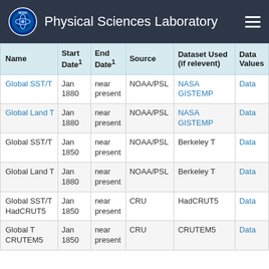Physical Sciences Laboratory
| Name | Start Date¹ | End Date¹ | Source | Dataset Used (if relevent) | Data Values |
| --- | --- | --- | --- | --- | --- |
| Global SST/T | Jan 1880 | near present | NOAA/PSL | NASA GISTEMP | Data |
| Global Land T | Jan 1880 | near present | NOAA/PSL | NASA GISTEMP | Data |
| Global SST/T | Jan 1850 | near present | NOAA/PSL | Berkeley T | Data |
| Global Land T | Jan 1880 | near present | NOAA/PSL | Berkeley T | Data |
| Global SST/T HadCRUT5 | Jan 1850 | near present | CRU | HadCRUT5 | Data |
| Global T CRUTEM5 | Jan 1850 | near present | CRU | CRUTEM5 | Data |